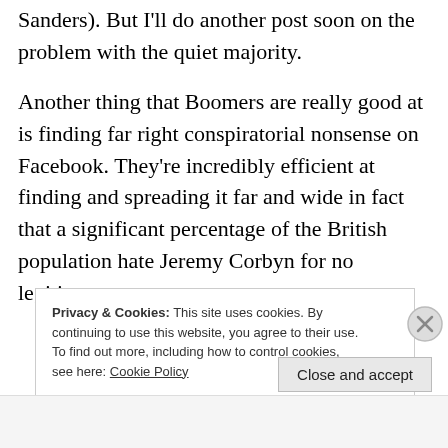Sanders). But I'll do another post soon on the problem with the quiet majority.
Another thing that Boomers are really good at is finding far right conspiratorial nonsense on Facebook. They're incredibly efficient at finding and spreading it far and wide in fact that a significant percentage of the British population hate Jeremy Corbyn for no legitimate reason whatsoever. Anyway, on to that particular...
Privacy & Cookies: This site uses cookies. By continuing to use this website, you agree to their use.
To find out more, including how to control cookies, see here: Cookie Policy
Close and accept